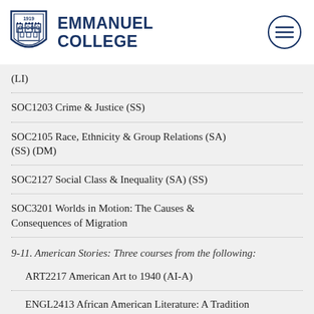Emmanuel College
(LI)
SOC1203 Crime & Justice (SS)
SOC2105 Race, Ethnicity & Group Relations (SA) (SS) (DM)
SOC2127 Social Class & Inequality (SA) (SS)
SOC3201 Worlds in Motion: The Causes & Consequences of Migration
9-11. American Stories: Three courses from the following:
ART2217 American Art to 1940 (AI-A)
ENGL2413 African American Literature: A Tradition of Resistance (AI-A) (LI) (DM)